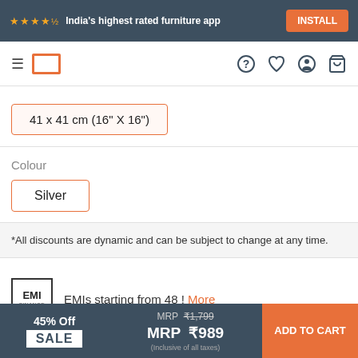★★★★½ India's highest rated furniture app  INSTALL
[Figure (screenshot): Navigation bar with hamburger menu, Pepperfry logo, and icons for help, wishlist, account, and cart]
41 x 41 cm (16" X 16")
Colour
Silver
*All discounts are dynamic and can be subject to change at any time.
EMIs starting from 48 !  More
Getting Estimated Delivery Date...
45% Off  SALE  MRP ₹1,799  MRP ₹989  (Inclusive of all taxes)  ADD TO CART